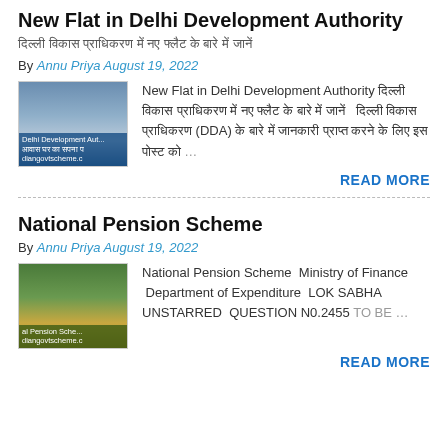New Flat in Delhi Development Authority
दिल्ली विकास प्राधिकरण में नए फ्लैट के बारे में जानें
By Annu Priya August 19, 2022
[Figure (photo): Thumbnail image of Delhi Development Authority building with overlay text 'Delhi Development Aut... indiangovtscheme.c']
New Flat in Delhi Development Authority दिल्ली विकास प्राधिकरण में नए फ्लैट के बारे में जानें  दिल्ली विकास प्राधिकरण (DDA) के बारे में जानकारी प्राप्त करने के लिए इस पोस्ट को ...
READ MORE
National Pension Scheme
By Annu Priya August 19, 2022
[Figure (photo): Thumbnail image of stacked coins with overlay text 'al Pension Sche... indiangovtscheme.c']
National Pension Scheme  Ministry of Finance  Department of Expenditure  LOK SABHA UNSTARRED  QUESTION N0.2455 TO BE ...
READ MORE